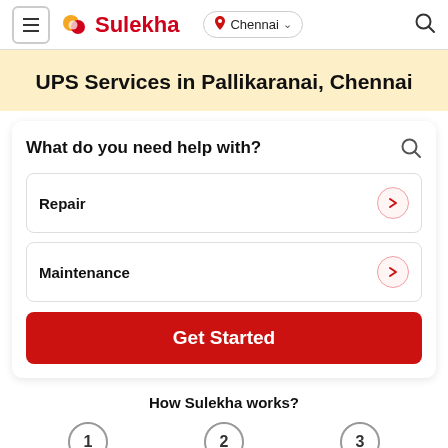Sulekha — Chennai
UPS Services in Pallikaranai, Chennai
What do you need help with?
Repair
Maintenance
Get Started
How Sulekha works?
1 Share your
2 Get Multiple
3 Compare, Hire &